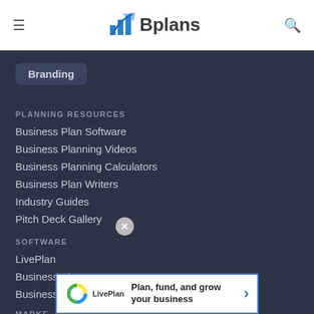Bplans
Branding
PLANNING RESOURCES
Business Plan Software
Business Planning Videos
Business Planning Calculators
Business Plan Writers
Industry Guides
Pitch Deck Gallery
SOFTWARE
LivePlan
Business Plan Pro
Business Tools
MARKE
[Figure (infographic): LivePlan advertisement banner: Plan, fund, and grow your business]